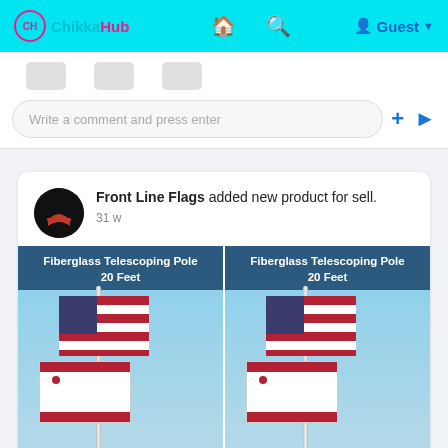ChikkaHub  [home icon] [search icon]  Guest
[Figure (screenshot): Icons row with reaction/comment buttons in gray boxes]
Write a comment and press enter
Front Line Flags added new product for sell.  31 w
[Figure (photo): Two side-by-side product images: Fiberglass Telescoping Pole 20 Feet, showing American flag and California Republic flag on pole against blue sky]